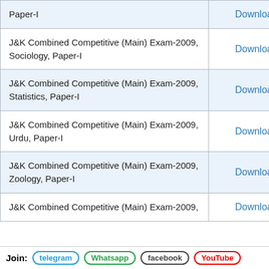| Exam Name | Link |
| --- | --- |
| Paper-I | Download |
| J&K Combined Competitive (Main) Exam-2009, Sociology, Paper-I | Download |
| J&K Combined Competitive (Main) Exam-2009, Statistics, Paper-I | Download |
| J&K Combined Competitive (Main) Exam-2009, Urdu, Paper-I | Download |
| J&K Combined Competitive (Main) Exam-2009, Zoology, Paper-I | Download |
| J&K Combined Competitive (Main) Exam-2009, ... | Download |
Join: telegram Whatsapp facebook YouTube